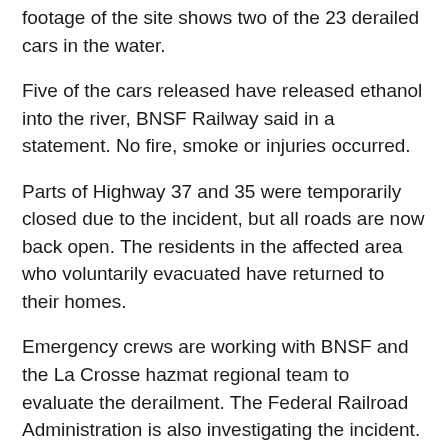footage of the site shows two of the 23 derailed cars in the water.
Five of the cars released have released ethanol into the river, BNSF Railway said in a statement. No fire, smoke or injuries occurred.
Parts of Highway 37 and 35 were temporarily closed due to the incident, but all roads are now back open. The residents in the affected area who voluntarily evacuated have returned to their homes.
Emergency crews are working with BNSF and the La Crosse hazmat regional team to evaluate the derailment. The Federal Railroad Administration is also investigating the incident.
Severson said there is no danger to the public.
“Everybody responded very quickly and it’s good as it can be.